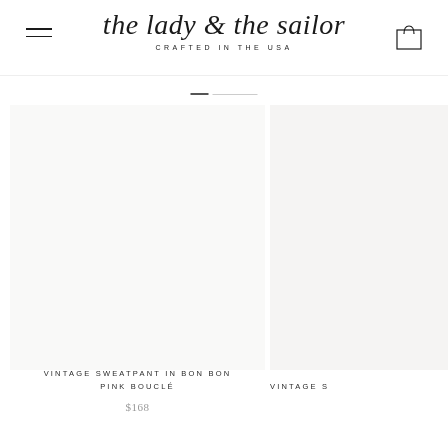the lady & the sailor CRAFTED IN THE USA
[Figure (screenshot): White product image area for Vintage Sweatpant in Bon Bon Pink Bouclé]
VINTAGE SWEATPANT IN BON BON PINK BOUCLÉ
$168
VINTAGE S